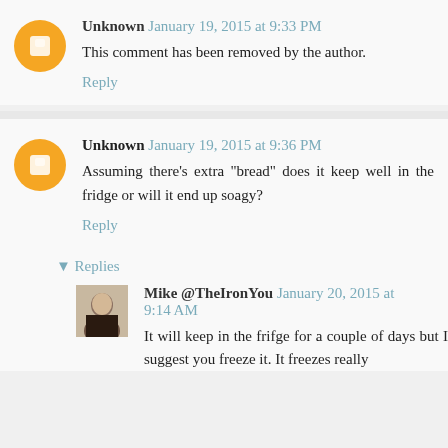Unknown January 19, 2015 at 9:33 PM
This comment has been removed by the author.
Reply
Unknown January 19, 2015 at 9:36 PM
Assuming there's extra "bread" does it keep well in the fridge or will it end up soagy?
Reply
▾ Replies
[Figure (photo): Small black and white profile photo of Mike @TheIronYou]
Mike @TheIronYou January 20, 2015 at 9:14 AM
It will keep in the frifge for a couple of days but I suggest you freeze it. It freezes really